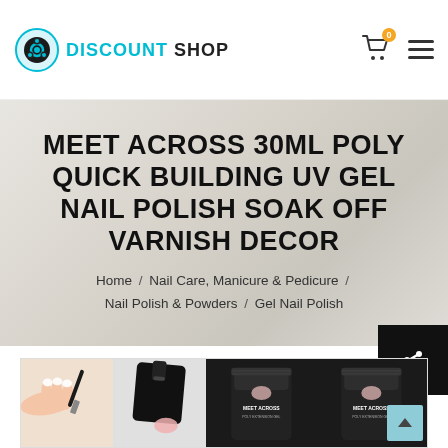[Figure (logo): Discount Shop logo with circular icon and cyan/black text]
MEET ACROSS 30ML POLY QUICK BUILDING UV GEL NAIL POLISH SOAK OFF VARNISH DECOR
Home / Nail Care, Manicure & Pedicure / Nail Polish & Powders / Gel Nail Polish
[Figure (photo): Product photos showing nail gel application and Meet Across Poly Extension Gel tubes]